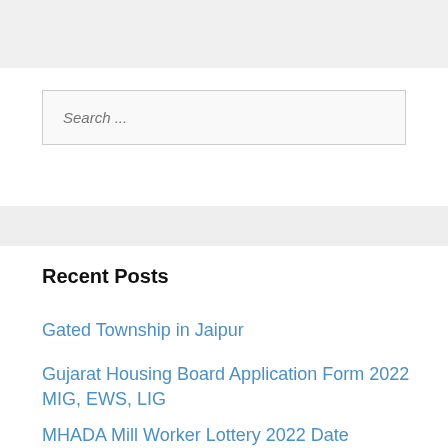Search ...
Recent Posts
Gated Township in Jaipur
Gujarat Housing Board Application Form 2022 MIG, EWS, LIG
MHADA Mill Worker Lottery 2022 Date